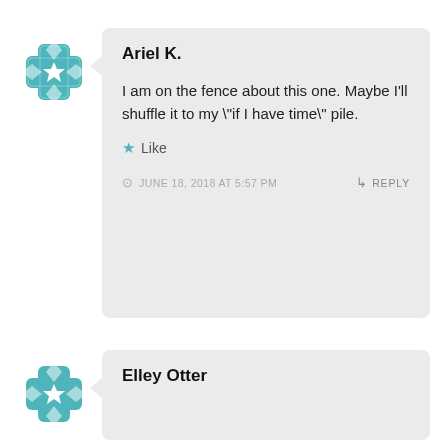[Figure (illustration): Teal decorative avatar icon with geometric cross/flower pattern]
Ariel K.
I am on the fence about this one. Maybe I'll shuffle it to my "if I have time" pile.
Like
JUNE 18, 2018 AT 5:57 PM
REPLY
[Figure (illustration): Teal decorative avatar icon with geometric cross/flower pattern]
Elley Otter